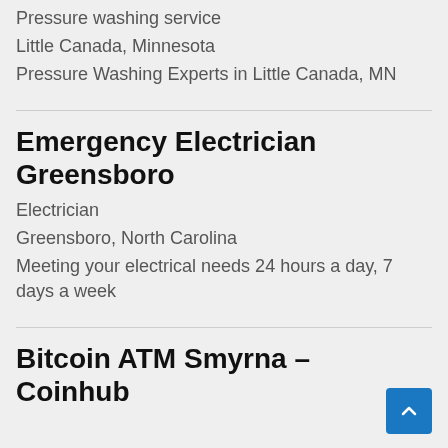Pressure washing service
Little Canada, Minnesota
Pressure Washing Experts in Little Canada, MN
Emergency Electrician Greensboro
Electrician
Greensboro, North Carolina
Meeting your electrical needs 24 hours a day, 7 days a week
Bitcoin ATM Smyrna – Coinhub